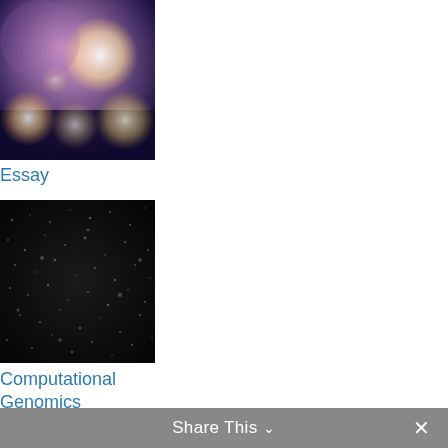[Figure (photo): Blurred bokeh image with pink, purple and warm yellow/orange circular light orbs against a dark background]
Essay
[Figure (photo): Dark microscopy or scientific imaging photo showing faint white/grey speckled texture on black background, possibly cellular or material science imagery]
Computational Genomics
[Figure (photo): Partially visible image at bottom, appears dark blue]
Share This ∨  ×